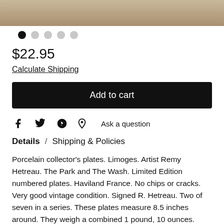[Figure (photo): Partial view of a porcelain plate, tan/beige tones, cropped at top]
[Figure (other): Image carousel dots: 5 dots, first is filled black, rest are gray]
$22.95
Calculate Shipping
Add to cart
Ask a question
Details / Shipping & Policies
Porcelain collector's plates. Limoges. Artist Remy Hetreau. The Park and The Wash. Limited Edition numbered plates. Haviland France. No chips or cracks. Very good vintage condition. Signed R. Hetreau. Two of seven in a series. These plates measure 8.5 inches around. They weigh a combined 1 pound, 10 ounces.